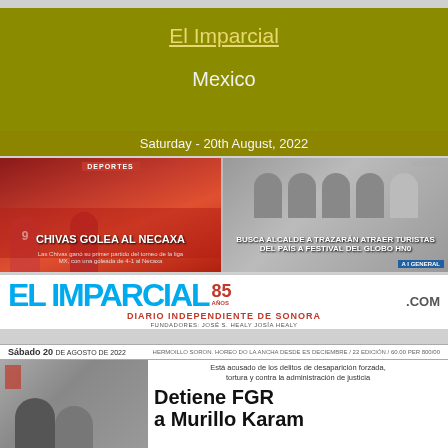El Imparcial
Mexico
Saturday - 20th August, 2022
[Figure (photo): Soccer players in red jerseys with CHIVAS GOLEA AL NECAXA headline and DEPORTES tag]
[Figure (photo): Group of people seated at table with headline about alcalde and festival del globo]
[Figure (logo): El Imparcial newspaper masthead logo in blue with 85 years badge and .com]
DIARIO INDEPENDIENTE DE SONORA
FUNDADORES: JOSÉ S. HEALY JOSÍA HEALY
Sábado 20 DE AGOSTO DE 2022
[Figure (photo): Two men photographed up close, one appearing distressed]
Está acusado de los delitos de desaparición forzada, tortura y contra la administración de justicia
Detiene FGR a Murillo Karam